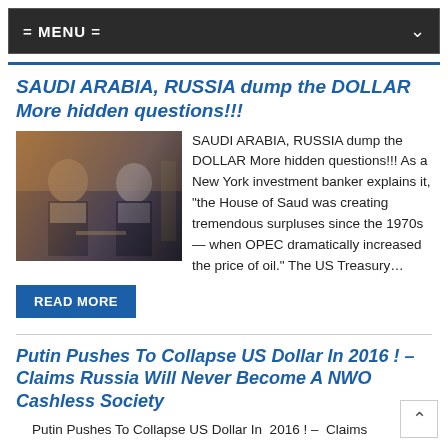= MENU =
SAUDI ARABIA, RUSSIA dump the DOLLAR More hidden questions!!!
[Figure (photo): Two men in formal attire clinking champagne glasses, one in traditional Arab dress and one in a dark suit, at what appears to be a formal reception.]
SAUDI ARABIA, RUSSIA dump the DOLLAR More hidden questions!!! As a New York investment banker explains it, "the House of Saud was creating tremendous surpluses since the 1970s — when OPEC dramatically increased the price of oil." The US Treasury…
READ MORE
Putin Pushes To Collapse US Dollar In 2016 ! – Claims Russia Will Never Become A NWO Cashless Society
Putin Pushes To Collapse US Dollar In  2016 ! –  Claims